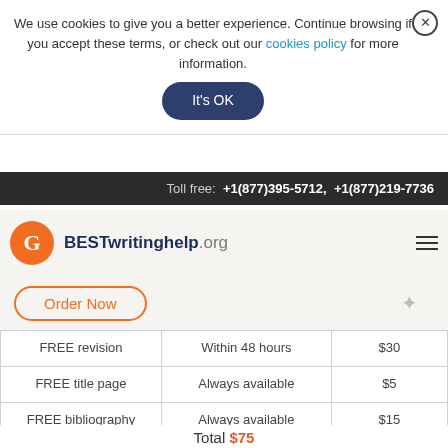We use cookies to give you a better experience. Continue browsing if you accept these terms, or check out our cookies policy for more information.
It's OK
Toll free: +1(877)395-5712, +1(877)219-7736
[Figure (logo): BESTwritinghelp.org logo with orange circular G icon]
Order Now
| FREE revision | Within 48 hours | $30 |
| FREE title page | Always available | $5 |
| FREE bibliography | Always available | $15 |
| FREE email delivery | Always available | $10 |
| FREE formatting | Always available | $10 |
Total $75